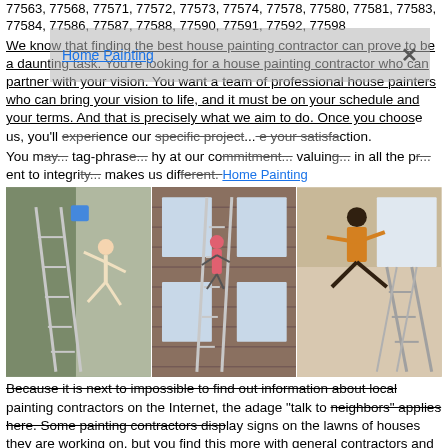77563, 77568, 77571, 77572, 77573, 77574, 77578, 77580, 77581, 77583, 77584, 77586, 77587, 77588, 77590, 77591, 77592, 77598
Home Painting
We know that finding the best house painting contractor can prove to be a daunting task. You're looking for a house painting contractor who can partner with your vision. You want a team of professional house painters who can bring your vision to life, and it must be on your schedule and your terms. And that is precisely what we aim to do. Once you choose us, you'll experience our specific project... your satisfaction. You may... tag-phrase... why at our commitment... valuing... in all the p... ent to integrity... makes us different. Home Painting
[Figure (photo): Three photos side by side showing acrobatic people falling/jumping near ladders on houses, and a person climbing a wall. Related to house painting contractors.]
Because it is next to impossible to find out information about local painting contractors on the Internet, the adage "talk to neighbors" applies here. Some painting contractors display signs on the lawns of houses they are working on, but you find this more with general contractors and siding and